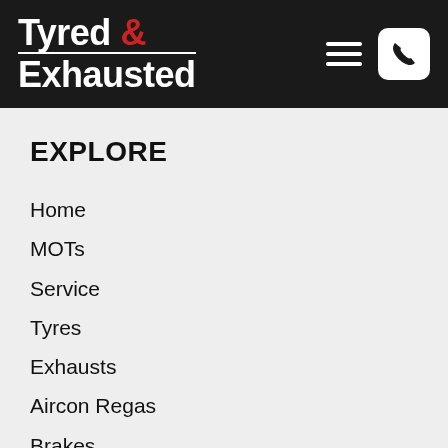Tyred & Exhausted
EXPLORE
Home
MOTs
Service
Tyres
Exhausts
Aircon Regas
Brakes
Wheel Alignment
Repairs
Motorhome Servicing